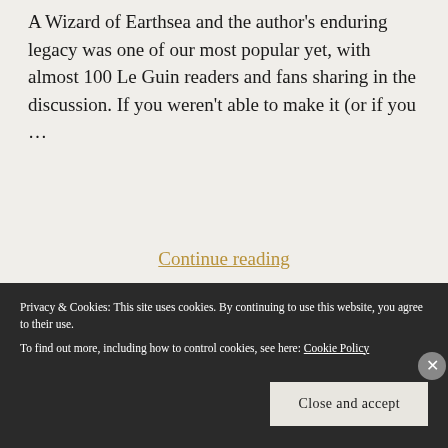A Wizard of Earthsea and the author's enduring legacy was one of our most popular yet, with almost 100 Le Guin readers and fans sharing in the discussion. If you weren't able to make it (or if you ...
Continue reading
Privacy & Cookies: This site uses cookies. By continuing to use this website, you agree to their use. To find out more, including how to control cookies, see here: Cookie Policy